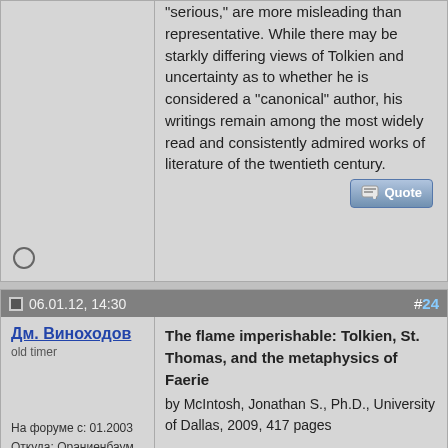"serious," are more misleading than representative. While there may be starkly differing views of Tolkien and uncertainty as to whether he is considered a "canonical" author, his writings remain among the most widely read and consistently admired works of literature of the twentieth century.
06.01.12, 14:30  #24
Дм. Виноходов
old timer
На форуме с: 01.2003
Откуда: Ораниенбаум
Сообщений: 431
The flame imperishable: Tolkien, St. Thomas, and the metaphysics of Faerie
by McIntosh, Jonathan S., Ph.D., University of Dallas, 2009, 417 pages

Abstract (Summary)

The argument of this dissertation is that J. R. R.